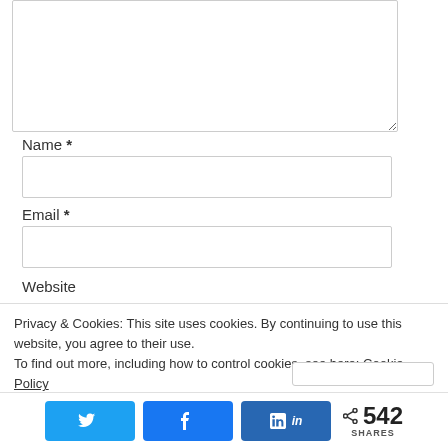[Figure (screenshot): Textarea form field (comment box) with resize handle at bottom right, partially visible at top of page]
Name *
[Figure (screenshot): Text input field for Name]
Email *
[Figure (screenshot): Text input field for Email]
Website
Privacy & Cookies: This site uses cookies. By continuing to use this website, you agree to their use.
To find out more, including how to control cookies, see here: Cookie Policy
[Figure (screenshot): Social share bar with Twitter, Facebook, LinkedIn buttons and 542 SHARES count]